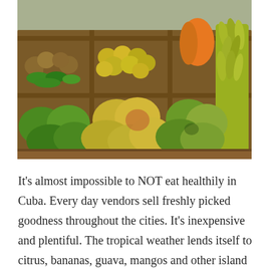[Figure (photo): A wooden market stall crate filled with tropical fruits and vegetables including large green and yellow mangoes, bananas, papaya, and various other produce. The display is arranged in wooden compartments.]
It's almost impossible to NOT eat healthily in Cuba. Every day vendors sell freshly picked goodness throughout the cities. It's inexpensive and plentiful. The tropical weather lends itself to citrus, bananas, guava, mangos and other island fruits.